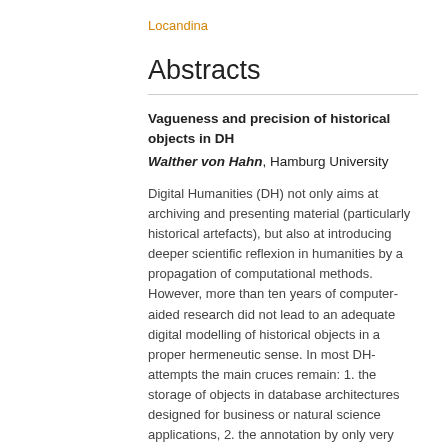Locandina
Abstracts
Vagueness and precision of historical objects in DH
Walther von Hahn, Hamburg University
Digital Humanities (DH) not only aims at archiving and presenting material (particularly historical artefacts), but also at introducing deeper scientific reflexion in humanities by a propagation of computational methods. However, more than ten years of computer-aided research did not lead to an adequate digital modelling of historical objects in a proper hermeneutic sense. In most DH-attempts the main cruces remain: 1. the storage of objects in database architectures designed for business or natural science applications, 2. the annotation by only very general metadata, 3. mark-up with merely shallow and local linguistic information, 4. a missing quantitative and inferential